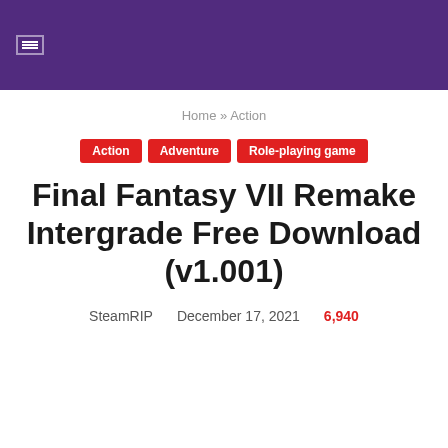Home » Action
Action
Adventure
Role-playing game
Final Fantasy VII Remake Intergrade Free Download (v1.001)
SteamRIP   December 17, 2021   6,940